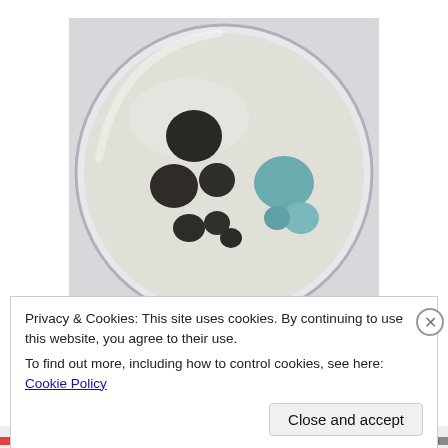[Figure (photo): A petri dish viewed from above showing multiple mold colonies — several dark/grey-black colonies on the left side and a cluster of blue-green colonies on the right side, against a white/off-white agar background.]
The worst outcome from a do-it-yourself mold test kit is that negative results will give a false sense of security
Privacy & Cookies: This site uses cookies. By continuing to use this website, you agree to their use.
To find out more, including how to control cookies, see here: Cookie Policy
Close and accept